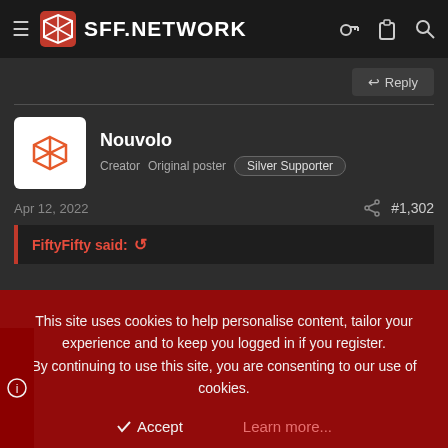SFF.NETWORK
Reply
Nouvolo
Creator  Original poster  Silver Supporter
Apr 12, 2022  #1,302
FiftyFifty said:
This site uses cookies to help personalise content, tailor your experience and to keep you logged in if you register.
By continuing to use this site, you are consenting to our use of cookies.
Accept  Learn more...